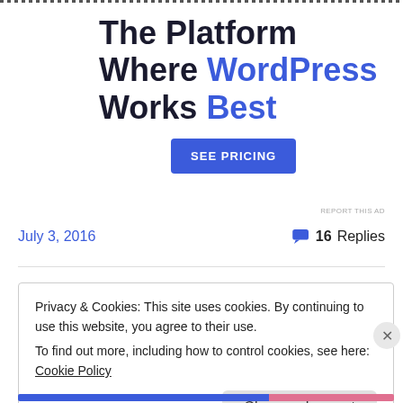[Figure (other): Dotted horizontal line border at top of page]
The Platform Where WordPress Works Best
[Figure (other): Blue button labeled SEE PRICING]
REPORT THIS AD
July 3, 2016
16 Replies
Privacy & Cookies: This site uses cookies. By continuing to use this website, you agree to their use.
To find out more, including how to control cookies, see here: Cookie Policy
Close and accept